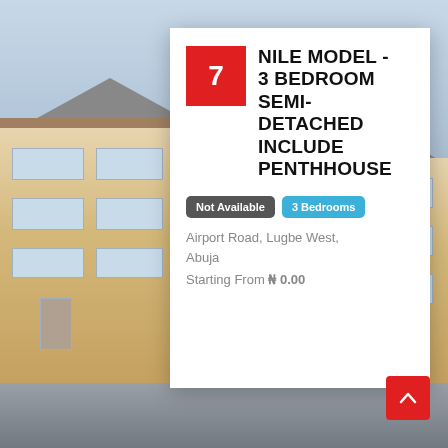[Figure (photo): Exterior photo of residential buildings with brick facade, grey roofs, white-framed windows, on a light blue sky background, with a foreground showing a parking/driveway area.]
NILE MODEL - 3 BEDROOM SEMI-DETACHED INCLUDE PENTHHOUSE
Not Available   3 Bedrooms
Airport Road, Lugbe West, Abuja
Starting From ₦ 0.00